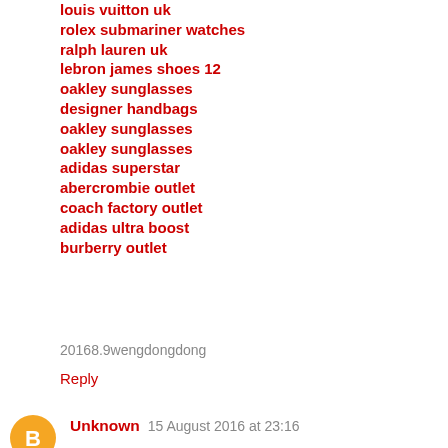louis vuitton uk
rolex submariner watches
ralph lauren uk
lebron james shoes 12
oakley sunglasses
designer handbags
oakley sunglasses
oakley sunglasses
adidas superstar
abercrombie outlet
coach factory outlet
adidas ultra boost
burberry outlet
20168.9wengdongdong
Reply
Unknown  15 August 2016 at 23:16
Hi
That was eye opening article
really fetched some good information